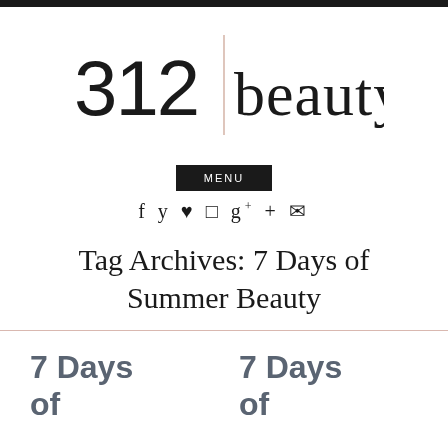[Figure (logo): 312 beauty logo with vertical rose-gold divider line between '312' and 'beauty' in thin elegant font]
MENU
f ✓ ⊕ ⊡ g+ + ✉
Tag Archives: 7 Days of Summer Beauty
7 Days of
7 Days of